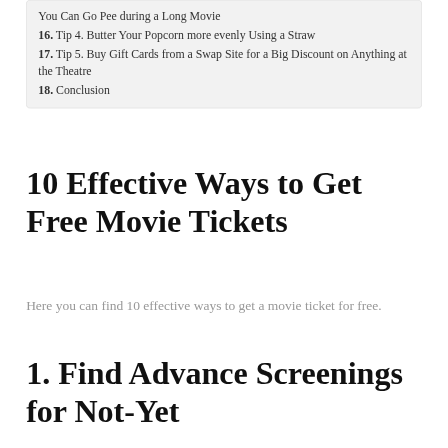You Can Go Pee during a Long Movie
16. Tip 4. Butter Your Popcorn more evenly Using a Straw
17. Tip 5. Buy Gift Cards from a Swap Site for a Big Discount on Anything at the Theatre
18. Conclusion
10 Effective Ways to Get Free Movie Tickets
Here you can find 10 effective ways to get a movie ticket for free.
1. Find Advance Screenings for Not-Yet